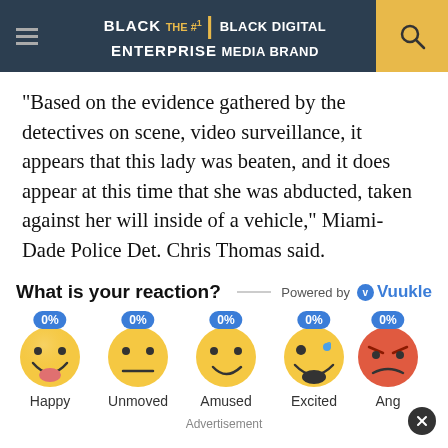BLACK ENTERPRISE THE #1 BLACK DIGITAL MEDIA BRAND
“Based on the evidence gathered by the detectives on scene, video surveillance, it appears that this lady was beaten, and it does appear at this time that she was abducted, taken against her will inside of a vehicle,” Miami-Dade Police Det. Chris Thomas said.
What is your reaction? Powered by Vuukle
[Figure (infographic): Reaction emojis row showing Happy 0%, Unmoved 0%, Amused 0%, Excited 0%, Ang(ry) partially visible 0%]
Advertisement